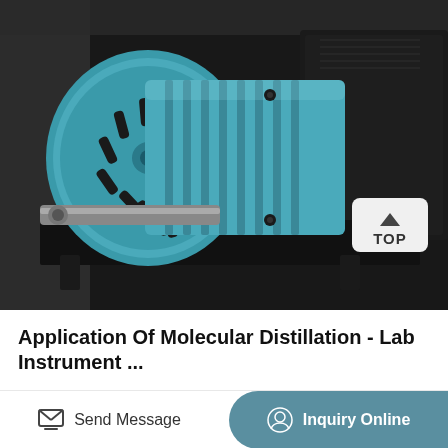[Figure (photo): Close-up photo of a teal/blue electric motor mounted on a black metal base plate, part of a molecular distillation lab instrument setup. A 'TOP' navigation badge with an upward chevron arrow is visible in the lower-right area of the image.]
Application Of Molecular Distillation - Lab Instrument ...
Send Message
Inquiry Online